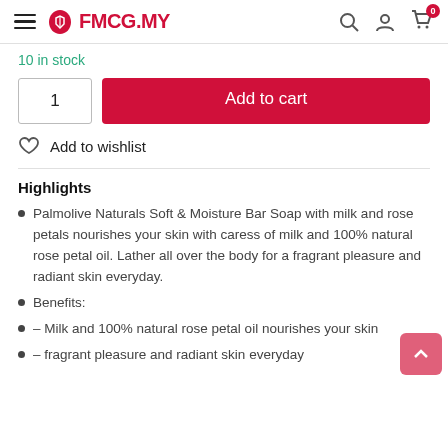FMCG.MY
10 in stock
1  Add to cart
Add to wishlist
Highlights
Palmolive Naturals Soft & Moisture Bar Soap with milk and rose petals nourishes your skin with caress of milk and 100% natural rose petal oil. Lather all over the body for a fragrant pleasure and radiant skin everyday.
Benefits:
– Milk and 100% natural rose petal oil nourishes your skin
– fragrant pleasure and radiant skin everyday